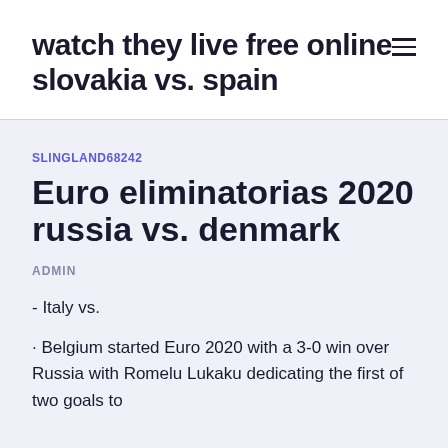watch they live free online slovakia vs. spain
SLINGLAND68242
Euro eliminatorias 2020 russia vs. denmark
ADMIN
- Italy vs.
· Belgium started Euro 2020 with a 3-0 win over Russia with Romelu Lukaku dedicating the first of two goals to